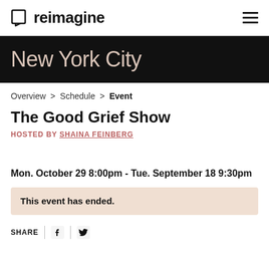reimagine
New York City
Overview > Schedule > Event
The Good Grief Show
HOSTED BY SHAINA FEINBERG
Mon. October 29 8:00pm - Tue. September 18 9:30pm
This event has ended.
SHARE